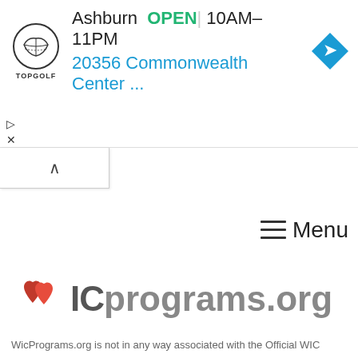[Figure (screenshot): Topgolf advertisement banner showing location 'Ashburn OPEN 10AM-11PM' with address '20356 Commonwealth Center ...' and a blue diamond navigation icon, plus Topgolf logo]
[Figure (logo): WICprograms.org logo with two red hearts and text 'ICprograms.org' in gray]
WicPrograms.org is not in any way associated with the Official WIC Program offered by the USDA